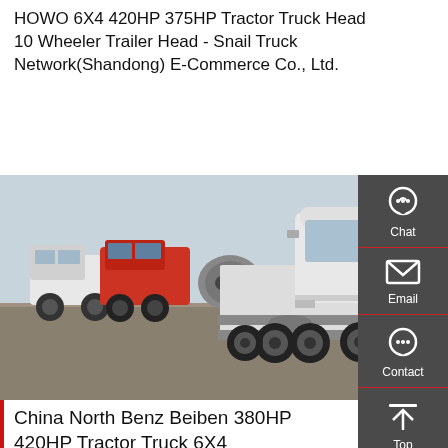HOWO 6X4 420HP 375HP Tractor Truck Head 10 Wheeler Trailer Head - Snail Truck Network(Shandong) E-Commerce Co., Ltd.
Get a Quote
[Figure (photo): White HOWO 6x4 tractor truck head parked in a lot with other trucks behind it, outdoor scene with hazy sky]
[Figure (infographic): Sidebar with Chat, Email, Contact, and Top navigation icons on dark grey background]
China North Benz Beiben 380HP 420HP Tractor Truck 6X4